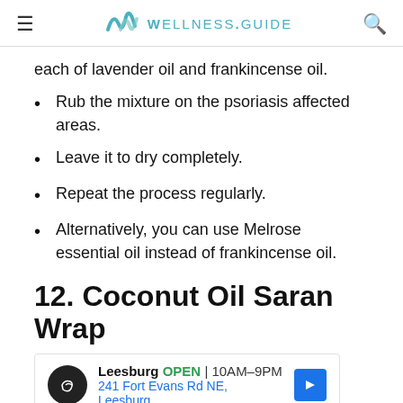WELLNESS.GUIDE
each of lavender oil and frankincense oil.
Rub the mixture on the psoriasis affected areas.
Leave it to dry completely.
Repeat the process regularly.
Alternatively, you can use Melrose essential oil instead of frankincense oil.
12. Coconut Oil Saran Wrap
[Figure (screenshot): Advertisement for a local business: Leesburg, OPEN 10AM-9PM, 241 Fort Evans Rd NE, Leesburg, with navigation icon]